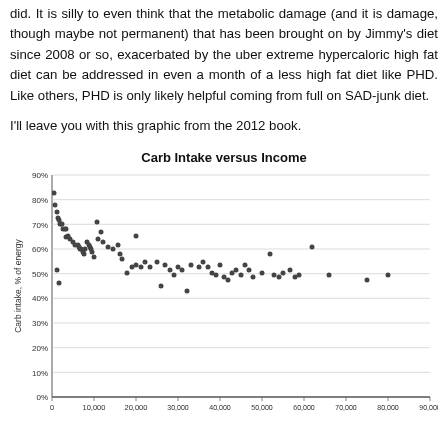did. It is silly to even think that the metabolic damage (and it is damage, though maybe not permanent) that has been brought on by Jimmy's diet since 2008 or so, exacerbated by the uber extreme hypercaloric high fat diet can be addressed in even a month of a less high fat diet like PHD. Like others, PHD is only likely helpful coming from full on SAD-junk diet.
I'll leave you with this graphic from the 2012 book.
[Figure (scatter-plot): Scatter plot showing carb intake percentage of energy vs income. Points cluster in the 60-80% range at low incomes and trend downward to ~50% at higher incomes.]